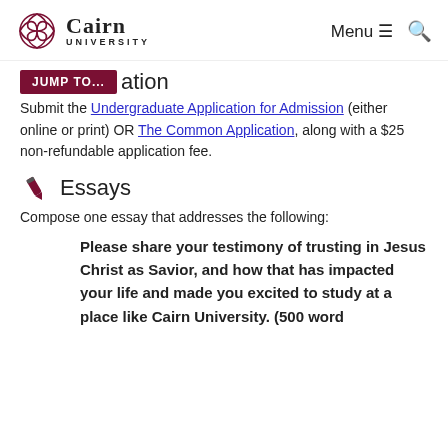Cairn University — Menu / Search
JUMP TO... ation
Submit the Undergraduate Application for Admission (either online or print) OR The Common Application, along with a $25 non-refundable application fee.
Essays
Compose one essay that addresses the following:
Please share your testimony of trusting in Jesus Christ as Savior, and how that has impacted your life and made you excited to study at a place like Cairn University. (500 word